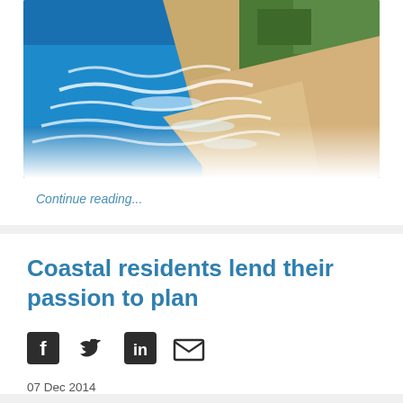[Figure (photo): Aerial photograph of a coastline showing bright blue ocean with white-capped waves, a sandy beach, and green vegetation in the background.]
Continue reading...
Coastal residents lend their passion to plan
[Figure (infographic): Social media sharing icons: Facebook, Twitter, LinkedIn, and Email/envelope icons in dark grey.]
07 Dec 2014